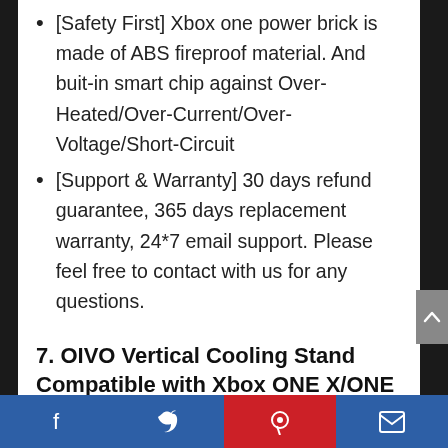[Safety First] Xbox one power brick is made of ABS fireproof material. And buit-in smart chip against Over-Heated/Over-Current/Over-Voltage/Short-Circuit
[Support & Warranty] 30 days refund guarantee, 365 days replacement warranty, 24*7 email support. Please feel free to contact with us for any questions.
7. OIVO Vertical Cooling Stand Compatible with Xbox ONE X/ONE S/Regular ONE, Cooler Cooling Fan